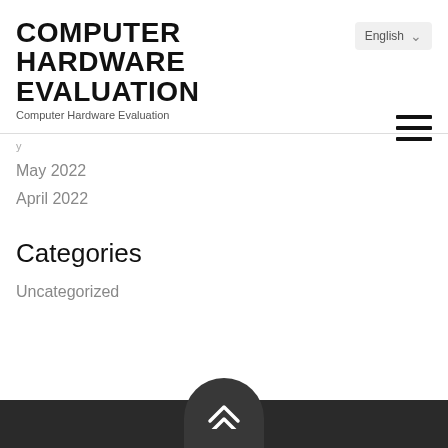COMPUTER HARDWARE EVALUATION
Computer Hardware Evaluation
May 2022
April 2022
Categories
Uncategorized